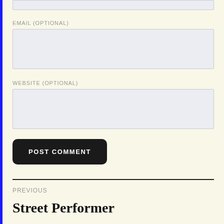[Figure (screenshot): Top partial input field (cropped at top of page)]
EMAIL (OPTIONAL)
[Figure (screenshot): Email input text field, empty, light grey background]
WEBSITE (OPTIONAL)
[Figure (screenshot): Website input text field, empty, light grey background]
POST COMMENT
PREVIOUS
Street Performer